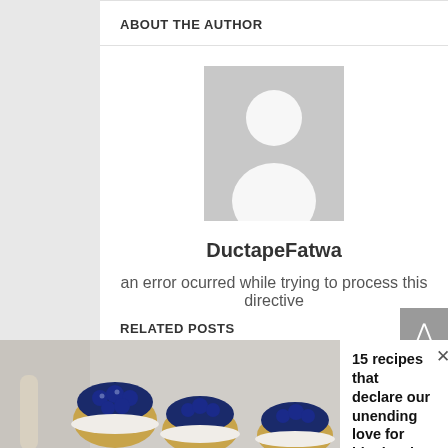ABOUT THE AUTHOR
[Figure (illustration): Default avatar placeholder — grey square with white silhouette of a person]
DuctapeFatwa
an error ocurred while trying to process this directive
RELATED POSTS
[Figure (photo): Green card-game themed banner image with card patterns]
[Figure (photo): Advertisement photo showing blueberry tarts/cakes]
15 recipes that declare our unending love for blueberries
alldelish.com | Sponsored